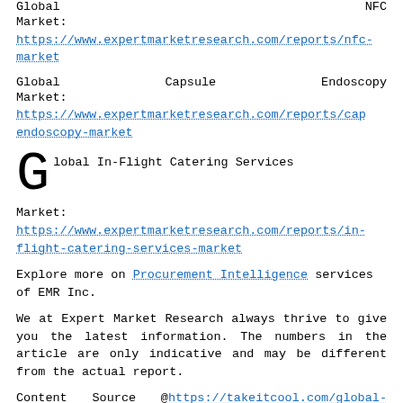Global NFC Market: https://www.expertmarketresearch.com/reports/nfc-market
Global Capsule Endoscopy Market: https://www.expertmarketresearch.com/reports/capsule-endoscopy-market
Global In-Flight Catering Services Market: https://www.expertmarketresearch.com/reports/in-flight-catering-services-market
Explore more on Procurement Intelligence services of EMR Inc.
We at Expert Market Research always thrive to give you the latest information. The numbers in the article are only indicative and may be different from the actual report.
Content Source @https://takeitcool.com/global-location-of-